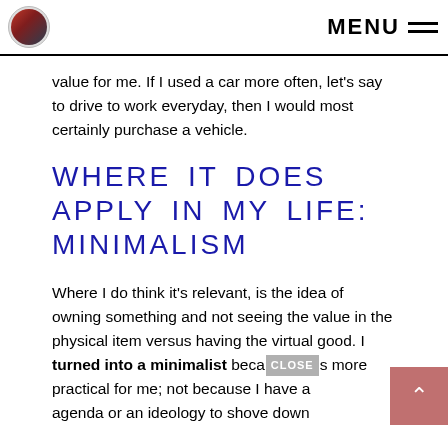MENU
value for me. If I used a car more often, let’s say to drive to work everyday, then I would most certainly purchase a vehicle.
WHERE IT DOES APPLY IN MY LIFE: MINIMALISM
Where I do think it’s relevant, is the idea of owning something and not seeing the value in the physical item versus having the virtual good. I turned into a minimalist because it’s more practical for me; not because I have an agenda or an ideology to shove down